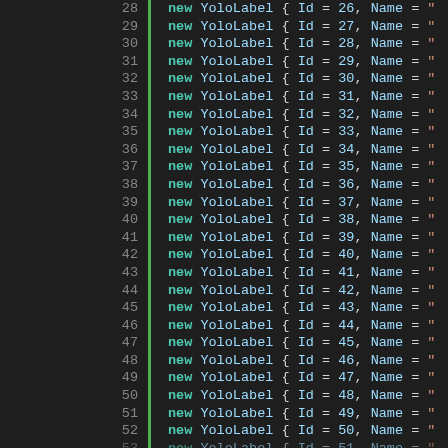28   new YoloLabel { Id = 26, Name = "
29   new YoloLabel { Id = 27, Name = "
30   new YoloLabel { Id = 28, Name = "
31   new YoloLabel { Id = 29, Name = "
32   new YoloLabel { Id = 30, Name = "
33   new YoloLabel { Id = 31, Name = "
34   new YoloLabel { Id = 32, Name = "
35   new YoloLabel { Id = 33, Name = "
36   new YoloLabel { Id = 34, Name = "
37   new YoloLabel { Id = 35, Name = "
38   new YoloLabel { Id = 36, Name = "
39   new YoloLabel { Id = 37, Name = "
40   new YoloLabel { Id = 38, Name = "
41   new YoloLabel { Id = 39, Name = "
42   new YoloLabel { Id = 40, Name = "
43   new YoloLabel { Id = 41, Name = "
44   new YoloLabel { Id = 42, Name = "
45   new YoloLabel { Id = 43, Name = "
46   new YoloLabel { Id = 44, Name = "
47   new YoloLabel { Id = 45, Name = "
48   new YoloLabel { Id = 46, Name = "
49   new YoloLabel { Id = 47, Name = "
50   new YoloLabel { Id = 48, Name = "
51   new YoloLabel { Id = 49, Name = "
52   new YoloLabel { Id = 50, Name = "
53   new YoloLabel { Id = 51, Name = "